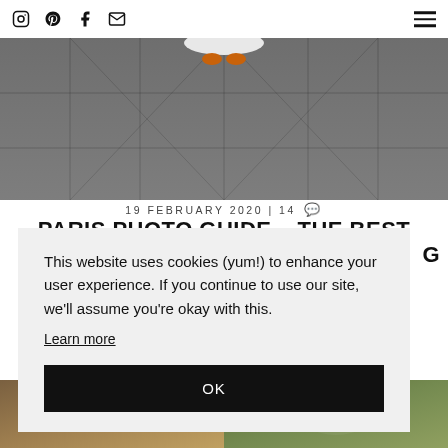Navigation icons: Instagram, Pinterest, Facebook, Email, Hamburger menu
[Figure (photo): Stone tile pavement viewed from above with a partially visible figure in a white dress and orange shoes standing on grey stone tiles]
19 FEBRUARY 2020 | 14
PARIS PHOTO GUIDE – THE BEST
G
This website uses cookies (yum!) to enhance your user experience. If you continue to use our site, we'll assume you're okay with this.
Learn more
OK
[Figure (photo): Bottom left photo strip showing warm earthy toned scene]
[Figure (photo): Bottom right photo strip showing green foliage scene]